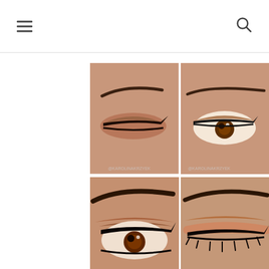navigation header with hamburger menu and search icon
[Figure (photo): 2x2 collage of close-up eye makeup photos showing smoky/date night makeup looks on a person with brown eyes and defined brows]
EASY FIRST DATE/DATE NIGHT MAKEUP T...